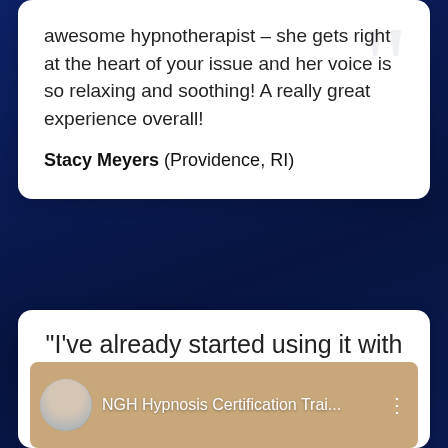awesome hypnotherapist – she gets right at the heart of your issue and her voice is so relaxing and soothing! A really great experience overall!
Stacy Meyers (Providence, RI)
"I've already started using it with my clients"
[Figure (screenshot): Video thumbnail showing NGH Hypnosis Certification Training with a small avatar photo of an older woman with gray hair wearing a blue top, overlaid with text 'NGH Hypnosis Certification Trai...' and a three-dot menu icon, against a warm brown/golden background.]